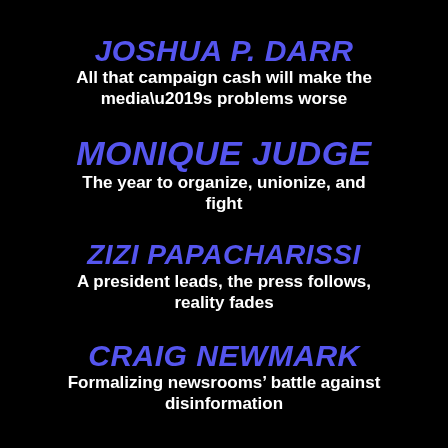JOSHUA P. DARR
All that campaign cash will make the media’s problems worse
MONIQUE JUDGE
The year to organize, unionize, and fight
ZIZI PAPACHARISSI
A president leads, the press follows, reality fades
CRAIG NEWMARK
Formalizing newsrooms’ battle against disinformation